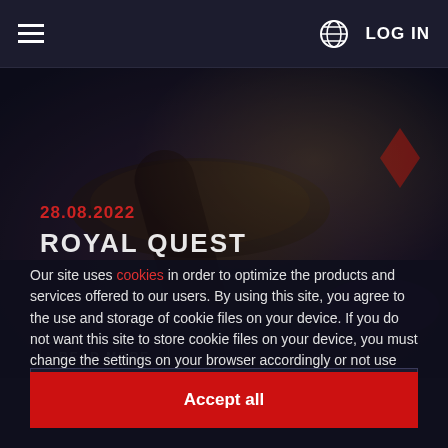☰   🌐   LOG IN
[Figure (screenshot): Dark casino-themed background image with playing cards and casino elements visible behind the cookie consent dialog]
28.08.2022
ROYAL QUEST
Our site uses cookies in order to optimize the products and services offered to our users. By using this site, you agree to the use and storage of cookie files on your device. If you do not want this site to store cookie files on your device, you must change the settings on your browser accordingly or not use the Site.
Cookie setting
Accept all